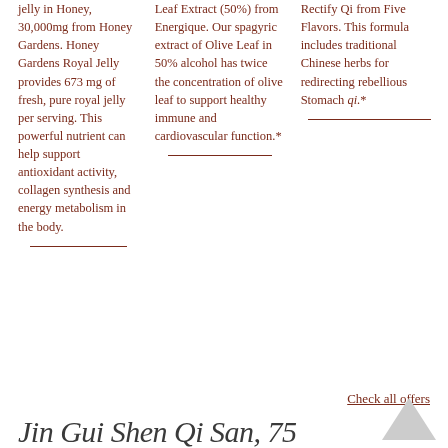jelly in Honey, 30,000mg from Honey Gardens. Honey Gardens Royal Jelly provides 673 mg of fresh, pure royal jelly per serving. This powerful nutrient can help support antioxidant activity, collagen synthesis and energy metabolism in the body.
Leaf Extract (50%) from Energique. Our spagyric extract of Olive Leaf in 50% alcohol has twice the concentration of olive leaf to support healthy immune and cardiovascular function.*
Rectify Qi from Five Flavors. This formula includes traditional Chinese herbs for redirecting rebellious Stomach qi.*
Check all offers
Jin Gui Shen Qi San, 75